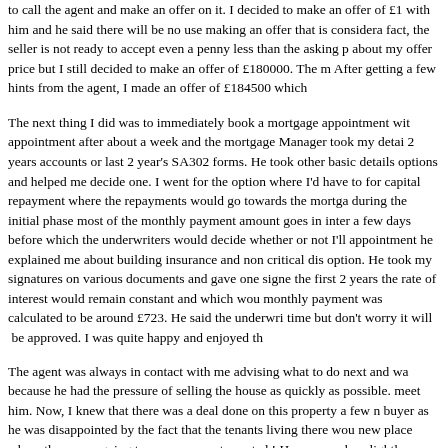to call the agent and make an offer on it. I decided to make an offer of £1 with him and he said there will be no use making an offer that is considera fact, the seller is not ready to accept even a penny less than the asking p about my offer price but I still decided to make an offer of £180000. The n After getting a few hints from the agent, I made an offer of £184500 which
The next thing I did was to immediately book a mortgage appointment wit appointment after about a week and the mortgage Manager took my detai 2 years accounts or last 2 year's SA302 forms. He took other basic details options and helped me decide one. I went for the option where I'd have to for capital repayment where the repayments would go towards the mortga during the initial phase most of the monthly payment amount goes in inter a few days before which the underwriters would decide whether or not I'll appointment he explained me about building insurance and non critical dis option. He took my signatures on various documents and gave one signe the first 2 years the rate of interest would remain constant and which wou monthly payment was calculated to be around £723. He said the underwri time but don't worry it will be approved. I was quite happy and enjoyed th
The agent was always in contact with me advising what to do next and wa because he had the pressure of selling the house as quickly as possible. meet him. Now, I knew that there was a deal done on this property a few buyer as he was disappointed by the fact that the tenants living there wou new place where they were going to move was not vacated ! However, wh a slightly different story. He said, the fact is that the tenants could not mov of the house via a court order. I'm not sure of the exact reason for this. Bu removed out of the house using a court order, then they can get a council after listening to this fact. The solicitor then said, don't worry as he can ad the tenants are not out by the already decided date, the whole deal will be I thought that's good enough. My agent also suggested me to ask the soli searches as they were already done recently. The new searches cost abo